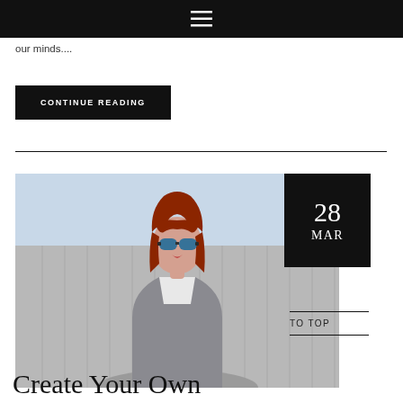☰
our minds....
CONTINUE READING
[Figure (photo): Fashion photo of a red-haired woman wearing mirrored sunglasses and a grey tweed jacket, with a date badge showing '28 MAR' in the upper right corner]
TO TOP
Create Your Own